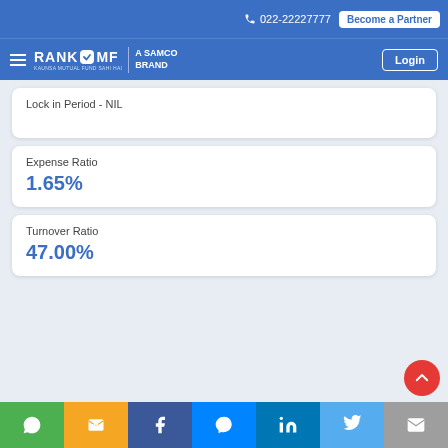022-22227777 | Become a Partner | RANKMF – A SAMCO BRAND | Login
Lock in Period - NIL
Expense Ratio
1.65%
Turnover Ratio
47.00%
Social sharing bar: WhatsApp, SMS, Facebook, Messenger, LinkedIn, Twitter, Email